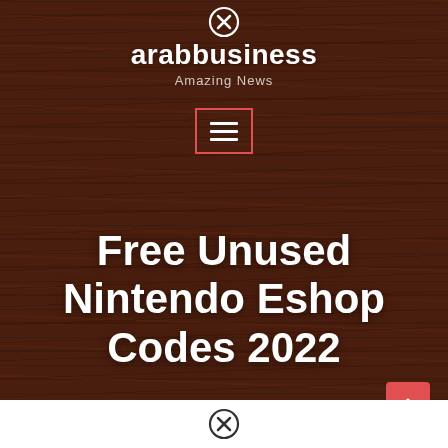arabbusiness — Amazing News
Free Unused Nintendo Eshop Codes 2022